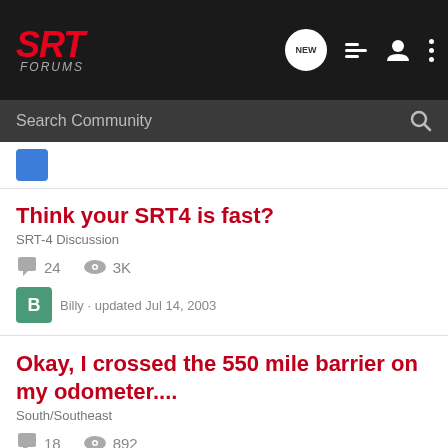SRT FORUMS
Search Community
Think your SRT4 is fast? SRT-4 Discussion · 24 replies · 3K views · Billy · updated Jul 14, 2003
Okay, I crossed the 550 mile barrier on my odometer.... South/Southeast · 18 replies · 892 views · ATL-SRT · updated Jan 7, 2005